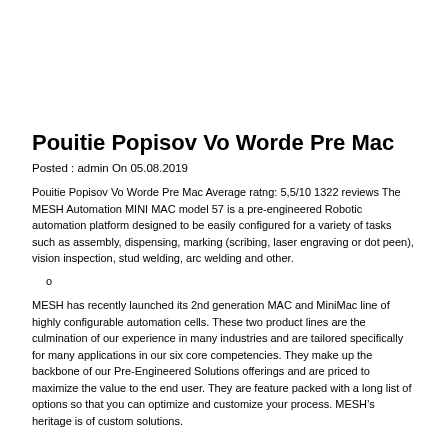Pouitie Popisov Vo Worde Pre Mac
Posted : admin On 05.08.2019
Pouitie Popisov Vo Worde Pre Mac Average ratng: 5,5/10 1322 reviews The MESH Automation MINI MAC model 57 is a pre-engineered Robotic automation platform designed to be easily configured for a variety of tasks such as assembly, dispensing, marking (scribing, laser engraving or dot peen), vision inspection, stud welding, arc welding and other.
o
MESH has recently launched its 2nd generation MAC and MiniMac line of highly configurable automation cells. These two product lines are the culmination of our experience in many industries and are tailored specifically for many applications in our six core competencies. They make up the backbone of our Pre-Engineered Solutions offerings and are priced to maximize the value to the end user. They are feature packed with a long list of options so that you can optimize and customize your process. MESH’s heritage is of custom solutions.